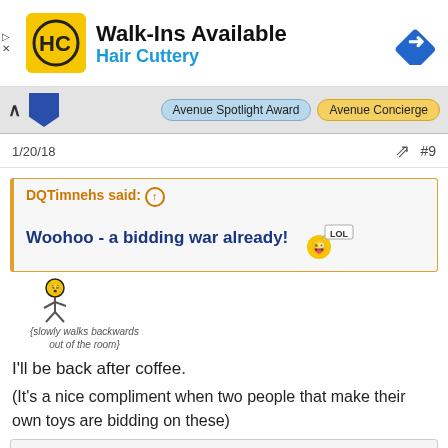[Figure (screenshot): Hair Cuttery advertisement banner with HC logo, 'Walk-Ins Available' text, 'Hair Cuttery' subtitle in blue, and a navigation arrow icon on the right]
[Figure (screenshot): Navigation bar with up caret, blue box, 'Avenue Spotlight Award' button and 'Avenue Concierge' button]
1/20/18
#9
DQTimnehs said:
Woohoo - a bidding war already!
[Figure (illustration): Animated emoji character slowly walking backwards with caption '{slowly walks backwards out of the room}']
I'll be back after coffee.
(It's a nice compliment when two people that make their own toys are bidding on these)